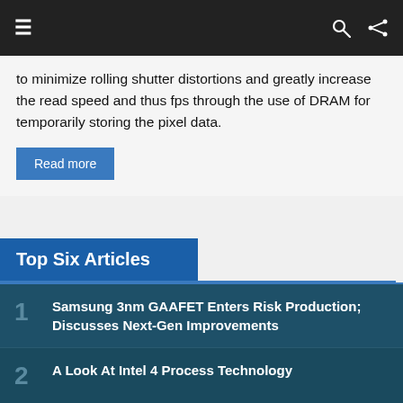≡  🔍  ⇌
to minimize rolling shutter distortions and greatly increase the read speed and thus fps through the use of DRAM for temporarily storing the pixel data.
Read more
Top Six Articles
1 Samsung 3nm GAAFET Enters Risk Production; Discusses Next-Gen Improvements
2 A Look At Intel 4 Process Technology
3 Samsung Foundry On EUV, Pellicles, Capacity, and Yield